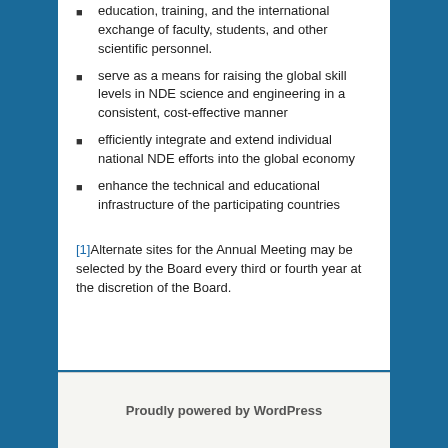education, training, and the international exchange of faculty, students, and other scientific personnel.
serve as a means for raising the global skill levels in NDE science and engineering in a consistent, cost-effective manner
efficiently integrate and extend individual national NDE efforts into the global economy
enhance the technical and educational infrastructure of the participating countries
[1]Alternate sites for the Annual Meeting may be selected by the Board every third or fourth year at the discretion of the Board.
Proudly powered by WordPress